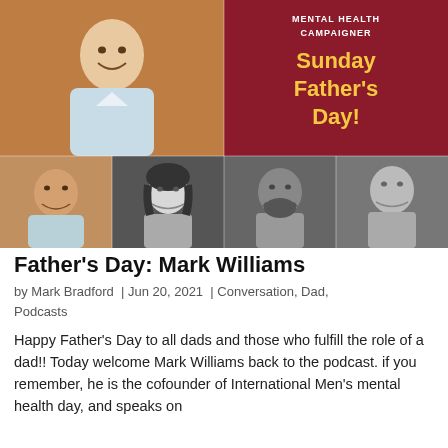[Figure (photo): Composite image: Top left shows a smiling man with light blue shirt in front of a brick wall. Top right shows dark red/maroon background with white text 'MENTAL HEALTH CAMPAIGNER' and yellow text 'Sunday Father's Day!'. Bottom row shows four headshot photos: a man smiling (color), a woman with dark hair (B&W), a bearded Black man smiling (B&W), and a bald man smiling (B&W).]
Father's Day: Mark Williams
by Mark Bradford  |  Jun 20, 2021  |  Conversation, Dad, Podcasts
Happy Father's Day to all dads and those who fulfill the role of a dad!! Today welcome Mark Williams back to the podcast. if you remember, he is the cofounder of International Men's mental health day, and speaks on